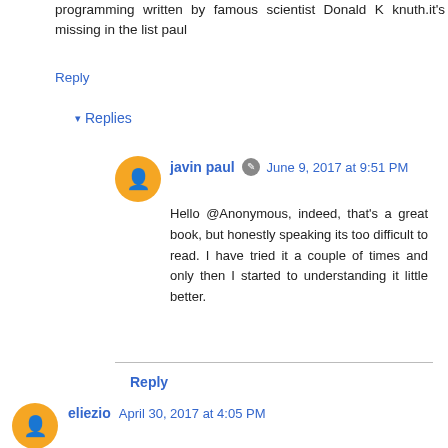programming written by famous scientist Donald K knuth.it's missing in the list paul
Reply
▾ Replies
javin paul ✎ June 9, 2017 at 9:51 PM
Hello @Anonymous, indeed, that's a great book, but honestly speaking its too difficult to read. I have tried it a couple of times and only then I started to understanding it little better.
Reply
eliezio April 30, 2017 at 4:05 PM
Typo: It's Cormen, not Cormon
Reply
▾ Replies